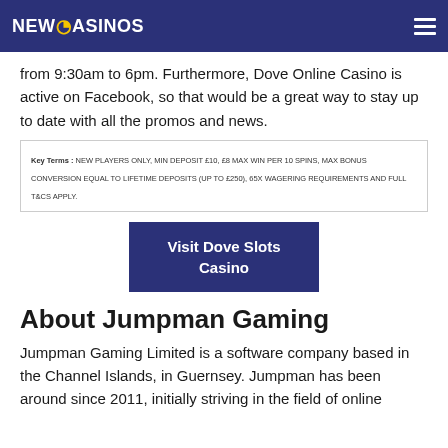NEWCASINOS
from 9:30am to 6pm. Furthermore, Dove Online Casino is active on Facebook, so that would be a great way to stay up to date with all the promos and news.
Key Terms : NEW PLAYERS ONLY, MIN DEPOSIT £10, £8 MAX WIN PER 10 SPINS, MAX BONUS CONVERSION EQUAL TO LIFETIME DEPOSITS (UP TO £250), 65X WAGERING REQUIREMENTS AND FULL T&CS APPLY.
Visit Dove Slots Casino
About Jumpman Gaming
Jumpman Gaming Limited is a software company based in the Channel Islands, in Guernsey. Jumpman has been around since 2011, initially striving in the field of online